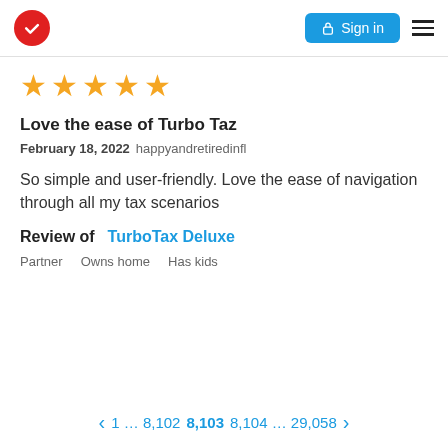Sign in
[Figure (other): Five yellow star rating]
Love the ease of Turbo Taz
February 18, 2022 happyandretiredinfl
So simple and user-friendly. Love the ease of navigation through all my tax scenarios
Review of  TurboTax Deluxe
Partner   Owns home   Has kids
1 … 8,102  8,103  8,104 … 29,058